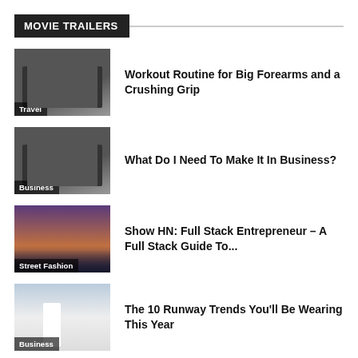MOVIE TRAILERS
Workout Routine for Big Forearms and a Crushing Grip
What Do I Need To Make It In Business?
Show HN: Full Stack Entrepreneur – A Full Stack Guide To...
The 10 Runway Trends You'll Be Wearing This Year